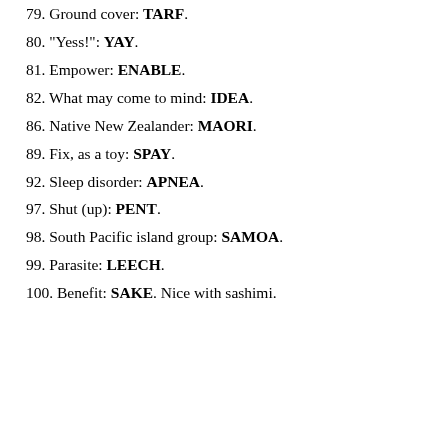79. Ground cover: TARF.
80. "Yess!": YAY.
81. Empower: ENABLE.
82. What may come to mind: IDEA.
86. Native New Zealander: MAORI.
89. Fix, as a toy: SPAY.
92. Sleep disorder: APNEA.
97. Shut (up): PENT.
98. South Pacific island group: SAMOA.
99. Parasite: LEECH.
100. Benefit: SAKE. Nice with sashimi.